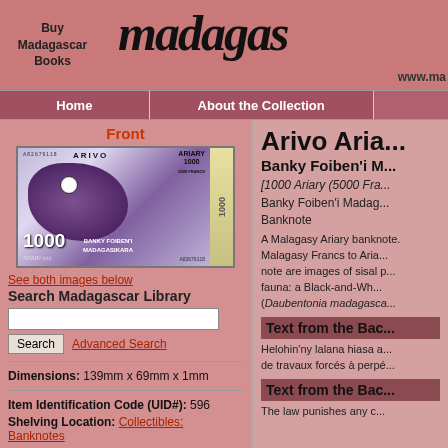Buy Madagascar Books | madagas... | www.ma...
Home | About the Collection
Front
[Figure (photo): Front of a Madagascar 1000 Ariary (5000 Francs) banknote, serial number A82679118, featuring a Black-and-White Ruffed Lemur (Aye-aye) and sisal plant imagery, issued by Banky Foiben'i Madagasikara]
See both images below
Search Madagascar Library
Dimensions: 139mm x 69mm x 1mm
Item Identification Code (UID#): 596
Shelving Location: Collectibles: Banknotes
Arivo Aria...
Banky Foiben'i M...
[1000 Ariary (5000 Fra...
Banky Foiben'i Madag...
Banknote
A Malagasy Ariary banknote. Malagasy Francs to Ariary... note are images of sisal p... fauna: a Black-and-Wh... (Daubentonia madagasca...
Text from the Bac...
Helohin'ny lalana hiasa a... de travaux forcés à perpé...
Text from the Bac...
The law punishes any c...